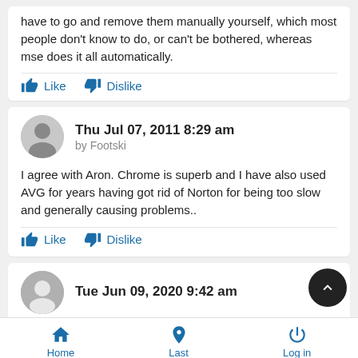have to go and remove them manually yourself, which most people don't know to do, or can't be bothered, whereas mse does it all automatically.
Like   Dislike
Thu Jul 07, 2011 8:29 am by Footski
I agree with Aron. Chrome is superb and I have also used AVG for years having got rid of Norton for being too slow and generally causing problems..
Like   Dislike
Tue Jun 09, 2020 9:42 am
Home   Last   Log in